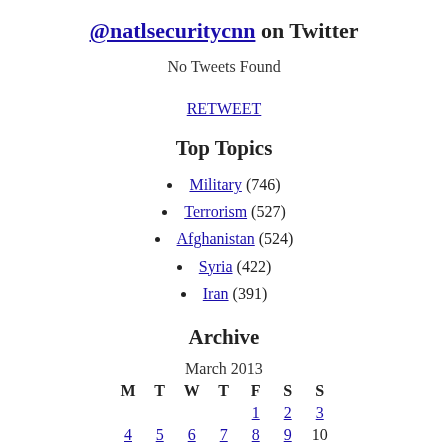@natlsecuritycnn on Twitter
No Tweets Found
RETWEET
Top Topics
Military (746)
Terrorism (527)
Afghanistan (524)
Syria (422)
Iran (391)
Archive
| M | T | W | T | F | S | S |
| --- | --- | --- | --- | --- | --- | --- |
|  |  |  |  | 1 | 2 | 3 |
| 4 | 5 | 6 | 7 | 8 | 9 | 10 |
| 11 | 12 | 13 | 14 | 15 | 16 | 17 |